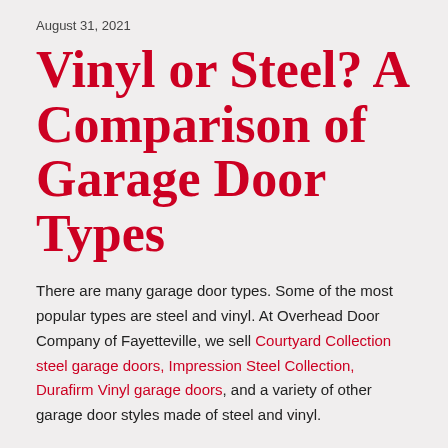August 31, 2021
Vinyl or Steel? A Comparison of Garage Door Types
There are many garage door types. Some of the most popular types are steel and vinyl. At Overhead Door Company of Fayetteville, we sell Courtyard Collection steel garage doors, Impression Steel Collection, Durafirm Vinyl garage doors, and a variety of other garage door styles made of steel and vinyl.